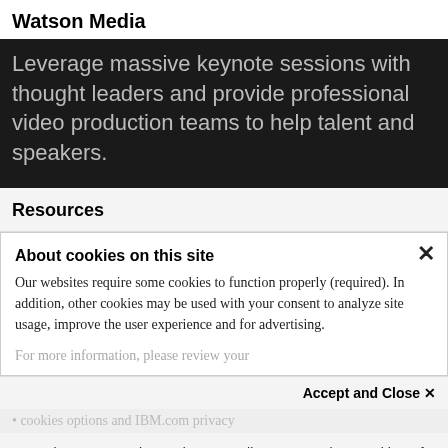Watson Media
Leverage massive keynote sessions with thought leaders and provide professional video production teams to help talent and speakers.
Resources
About cookies on this site
Our websites require some cookies to function properly (required). In addition, other cookies may be used with your consent to analyze site usage, improve the user experience and for advertising.
For more information, please review your
Accept and Close ×
Your browser settings do not allow cross-site tracking for advertising. Click on this page to allow AdRoll to use cross-site tracking to tailor ads to you. Learn more or opt out of this AdRoll tracking by clicking here. This message only appears once.